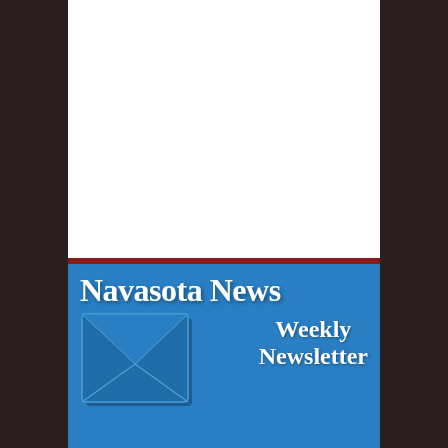[Figure (logo): Navasota News Weekly Newsletter banner logo featuring blue background with red top border, white serif text reading 'Navasota News' and 'Weekly Newsletter', with an envelope icon on the lower left]